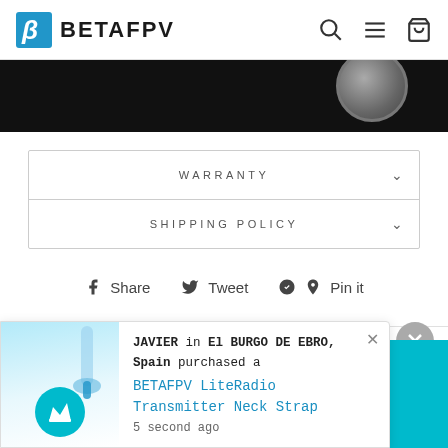BETAFPV
[Figure (screenshot): Dark banner strip with circular product image on right side]
WARRANTY
SHIPPING POLICY
Share  Tweet  Pin it
Customer Reviews
JAVIER in El BURGO DE EBRO, Spain purchased a BETAFPV LiteRadio Transmitter Neck Strap 5 second ago